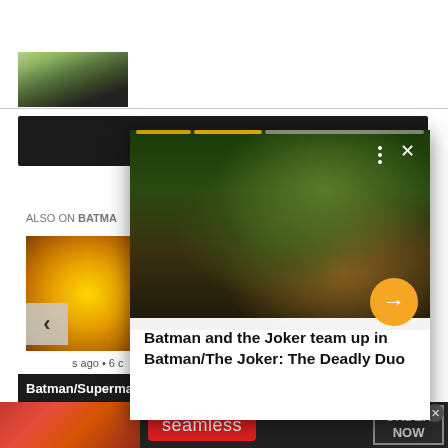[Figure (screenshot): Partial person photo at top left of page background]
ALSO ON BATMA
[Figure (screenshot): Comic book thumbnail image (yellow/colorful), partially visible below 'ALSO ON BATMA' text]
[Figure (screenshot): Overlay card popup showing Batman/Joker comic book art with progress bar, close button, three-dots menu, orange arrow button, and headline text]
Batman and the Joker team up in Batman/The Joker: The Deadly Duo
s ago • 6 c
Batman/Superma
Netflix adds
[Figure (screenshot): Seamless food delivery advertisement at bottom with pizza image, Seamless logo, and ORDER NOW button]